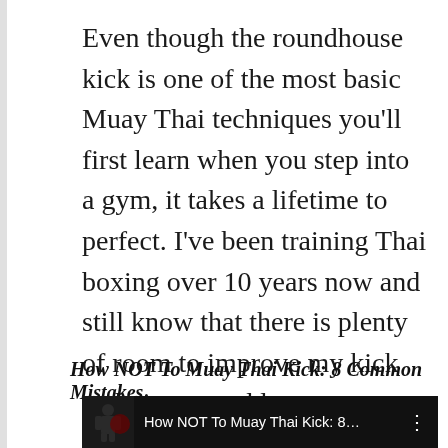Even though the roundhouse kick is one of the most basic Muay Thai techniques you'll first learn when you step into a gym, it takes a lifetime to perfect. I've been training Thai boxing over 10 years now and still know that there is plenty of room to improve my kick technique to add more power and speed to it.
How NOT To Muay Thai Kick: 8 Common Mistakes
[Figure (screenshot): Video thumbnail showing a fighter in dark background with title 'How NOT To Muay Thai Kick: 8...' and a vertical dots menu icon]